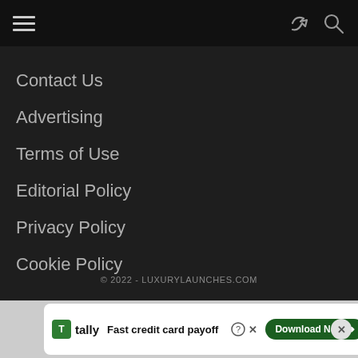Navigation menu bar with hamburger icon, share icon, and search icon
Contact Us
Advertising
Terms of Use
Editorial Policy
Privacy Policy
Cookie Policy
© 2022 - LUXURYLAUNCHES.COM
[Figure (screenshot): Advertisement banner for Tally app - Fast credit card payoff with Download Now button]